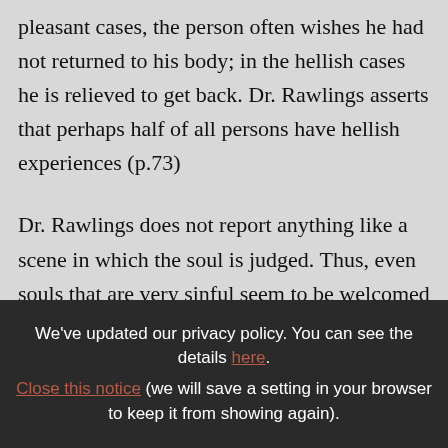pleasant cases, the person often wishes he had not returned to his body; in the hellish cases he is relieved to get back. Dr. Rawlings asserts that perhaps half of all persons have hellish experiences (p.73)

Dr. Rawlings does not report anything like a scene in which the soul is judged. Thus, even souls that are very sinful seem to be welcomed by the light (p.61). Further, experiences such as described have been found to happen in other
We've updated our privacy policy. You can see the details here. Close this notice (we will save a setting in your browser to keep it from showing again).